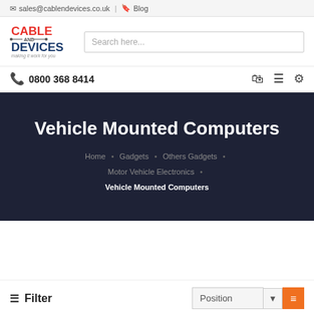sales@cablendevices.co.uk | Blog
[Figure (logo): Cable And Devices logo with red 'CABLE' text, blue 'DEVICES' text, and slogan 'making it work for you']
Search here...
0800 368 8414
Vehicle Mounted Computers
Home • Gadgets • Others Gadgets • Motor Vehicle Electronics • Vehicle Mounted Computers
≡  Filter
Position